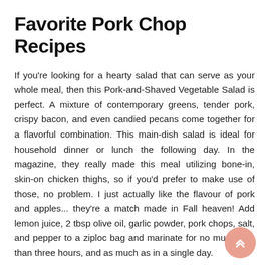Favorite Pork Chop Recipes
If you're looking for a hearty salad that can serve as your whole meal, then this Pork-and-Shaved Vegetable Salad is perfect. A mixture of contemporary greens, tender pork, crispy bacon, and even candied pecans come together for a flavorful combination. This main-dish salad is ideal for household dinner or lunch the following day. In the magazine, they really made this meal utilizing bone-in, skin-on chicken thighs, so if you'd prefer to make use of those, no problem. I just actually like the flavour of pork and apples... they're a match made in Fall heaven! Add lemon juice, 2 tbsp olive oil, garlic powder, pork chops, salt, and pepper to a ziploc bag and marinate for no much less than three hours, and as much as in a single day.